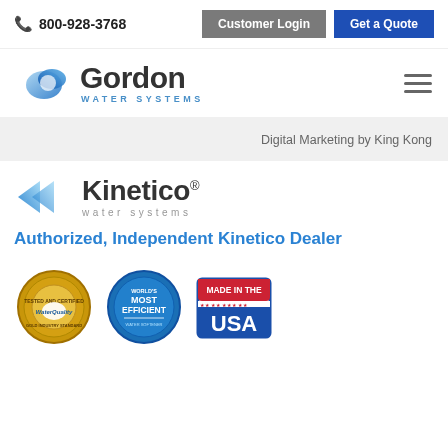📞 800-928-3768  Customer Login  Get a Quote
[Figure (logo): Gordon Water Systems logo with blue swirl icon and Gordon text with WATER SYSTEMS subtitle]
Digital Marketing by King Kong
[Figure (logo): Kinetico water systems logo with blue arrow/chevron icon]
Authorized, Independent Kinetico Dealer
[Figure (illustration): Three certification badges: Tested and Certified WaterQuality Gold Seal, World's Most Efficient Water Softener blue badge, and Made in the USA badge]